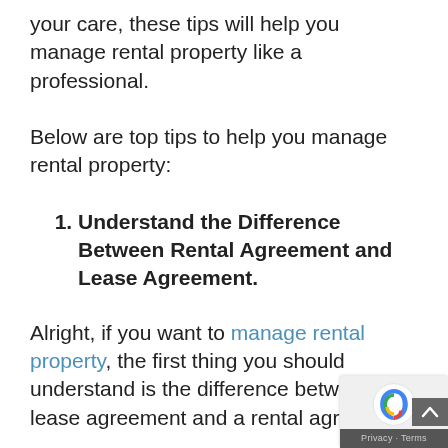your care, these tips will help you manage rental property like a professional.
Below are top tips to help you manage rental property:
Understand the Difference Between Rental Agreement and Lease Agreement.
Alright, if you want to manage rental property, the first thing you should understand is the difference between a lease agreement and a rental agreement.
A rental agreement is an agreement that covers short-term period. In most cases, this agreement usually last 4 weeks and it is